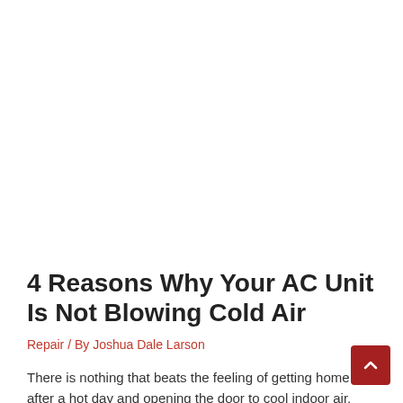4 Reasons Why Your AC Unit Is Not Blowing Cold Air
Repair / By Joshua Dale Larson
There is nothing that beats the feeling of getting home after a hot day and opening the door to cool indoor air. However, sometimes the...